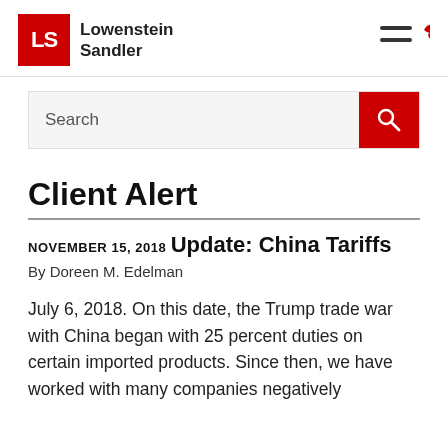[Figure (logo): Lowenstein Sandler law firm logo with red LS square and firm name text]
Search
Client Alert
NOVEMBER 15, 2018
Update: China Tariffs
By Doreen M. Edelman
July 6, 2018. On this date, the Trump trade war with China began with 25 percent duties on certain imported products. Since then, we have worked with many companies negatively